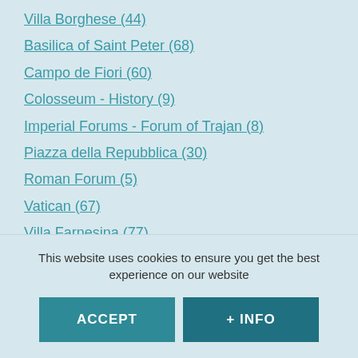Villa Borghese (44)
Basilica of Saint Peter (68)
Campo de Fiori (60)
Colosseum - History (9)
Imperial Forums - Forum of Trajan (8)
Piazza della Repubblica (30)
Roman Forum (5)
Vatican (67)
Villa Farnesina (77)
Basilica of San Marco (53)
Castel Sant'Angelo (73)
Fontana di Trevi (25)
This website uses cookies to ensure you get the best experience on our website
ACCEPT
+ INFO